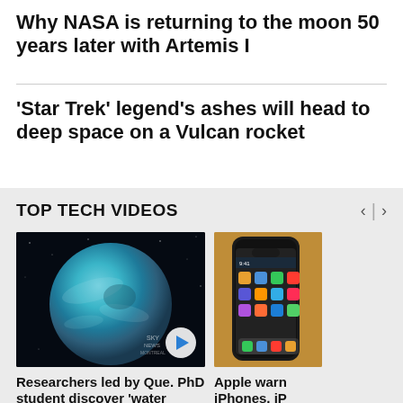Why NASA is returning to the moon 50 years later with Artemis I
'Star Trek' legend's ashes will head to deep space on a Vulcan rocket
TOP TECH VIDEOS
[Figure (photo): Video thumbnail showing a blue-green planet (water planet) against a dark space background with a play button overlay]
[Figure (photo): Video thumbnail showing an iPhone being held, partially visible on the right side]
Researchers led by Que. PhD student discover 'water planet'
Apple warn iPhones, iP